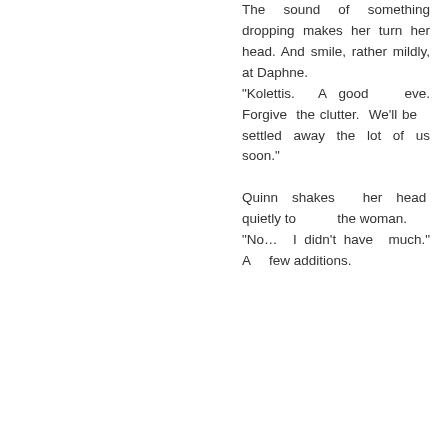The sound of something dropping makes her turn her head. And smile, rather mildly, at Daphne. "Kolettis. A good eve. Forgive the clutter. We'll be settled away the lot of us soon."

Quinn shakes her head quietly to the woman. "No… I didn't have much." A few additions.